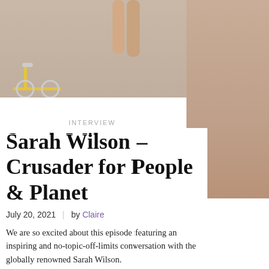[Figure (photo): Top portion of page showing a lifestyle photo split into two parts: left side shows a person's bare legs near a yellow bicycle against a beige/tan wall; right side shows a taller cropped photo panel with a sandy/warm background.]
INTERVIEW
Sarah Wilson – Crusader for People & Planet
July 20, 2021  |  by Claire
We are so excited about this episode featuring an inspiring and no-topic-off-limits conversation with the globally renowned Sarah Wilson.
Sarah has achieved massively in multiple arenas; she's a former journalist and TV presenter, she's an author and activist and